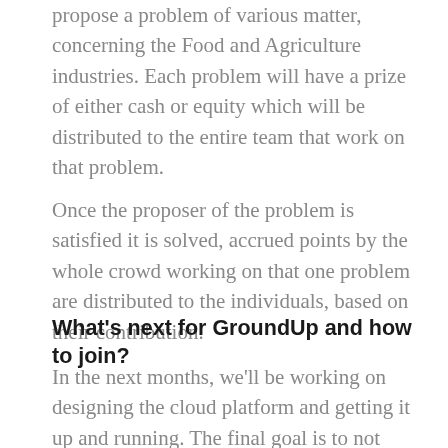propose a problem of various matter, concerning the Food and Agriculture industries. Each problem will have a prize of either cash or equity which will be distributed to the entire team that work on that problem.
Once the proposer of the problem is satisfied it is solved, accrued points by the whole crowd working on that one problem are distributed to the individuals, based on their contribution.
What's next for GroundUp and how to join?
In the next months, we'll be working on designing the cloud platform and getting it up and running. The final goal is to not only reach our milestone in November which is the AgriFoodTech Summit at COP26 but to